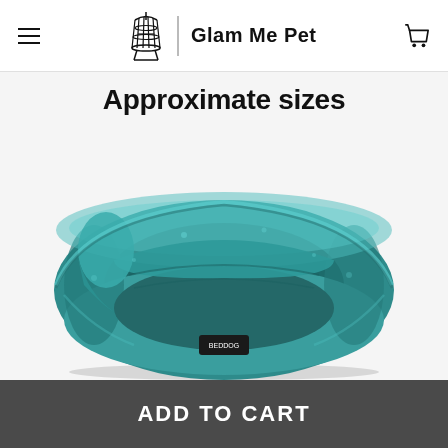Glam Me Pet
Approximate sizes
[Figure (photo): A teal/turquoise plush round pet bed with soft fluffy fabric walls and a cushioned interior, photographed from slightly above on a light gray background. A small brand label is visible on the front.]
ADD TO CART